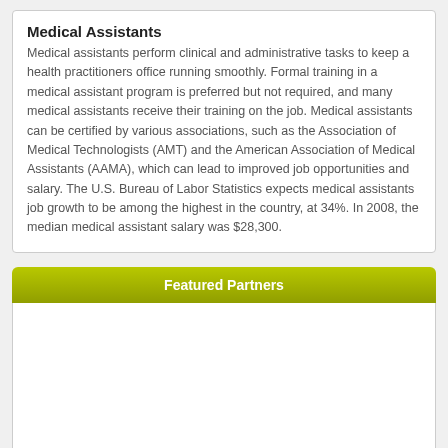Medical Assistants
Medical assistants perform clinical and administrative tasks to keep a health practitioners office running smoothly. Formal training in a medical assistant program is preferred but not required, and many medical assistants receive their training on the job. Medical assistants can be certified by various associations, such as the Association of Medical Technologists (AMT) and the American Association of Medical Assistants (AAMA), which can lead to improved job opportunities and salary. The U.S. Bureau of Labor Statistics expects medical assistants job growth to be among the highest in the country, at 34%. In 2008, the median medical assistant salary was $28,300.
Featured Partners